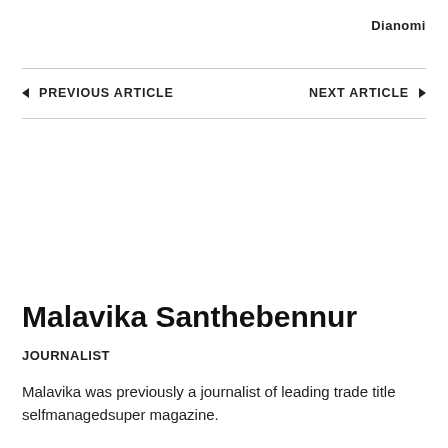Dianomi
◄ PREVIOUS ARTICLE
NEXT ARTICLE ►
Malavika Santhebennur
JOURNALIST
Malavika was previously a journalist of leading trade title selfmanagedsuper magazine.